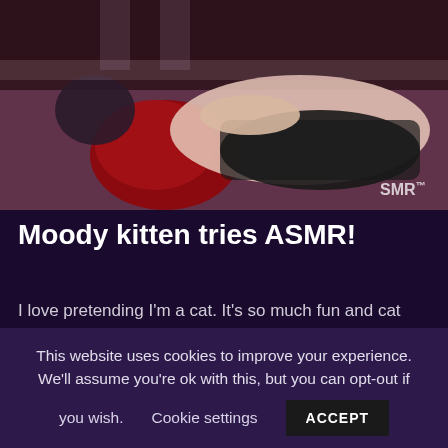[Figure (photo): A person in a cat costume lying on a bed with a red/dark pillow, wearing black clothing, with 'SMR' watermark in the lower right of the image]
Moody kitten tries ASMR!
I love pretending I'm a cat. It's so much fun and cat girls are adorable, so cat Aftyn is back again for another video! I tried to act like one of those prissy cats that are only nice to one person and seem to
This website uses cookies to improve your experience. We'll assume you're ok with this, but you can opt-out if you wish.   Cookie settings   ACCEPT